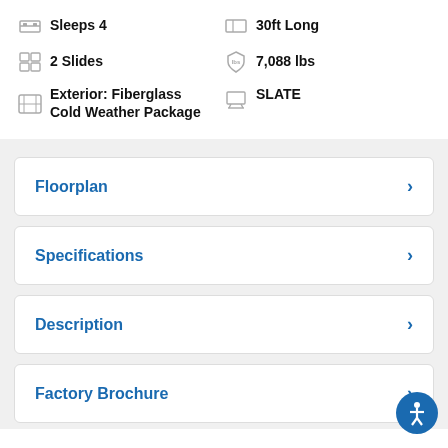Sleeps 4
30ft Long
2 Slides
7,088 lbs
Exterior: Fiberglass Cold Weather Package
SLATE
Floorplan
Specifications
Description
Factory Brochure